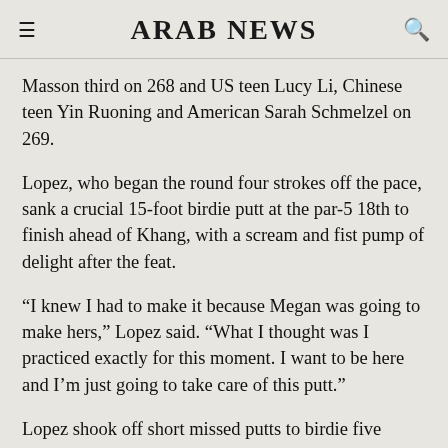ARAB NEWS
Masson third on 268 and US teen Lucy Li, Chinese teen Yin Ruoning and American Sarah Schmelzel on 269.
Lopez, who began the round four strokes off the pace, sank a crucial 15-foot birdie putt at the par-5 18th to finish ahead of Khang, with a scream and fist pump of delight after the feat.
“I knew I had to make it because Megan was going to make hers,” Lopez said. “What I thought was I practiced exactly for this moment. I want to be here and I’m just going to take care of this putt.”
Lopez shook off short missed putts to birdie five